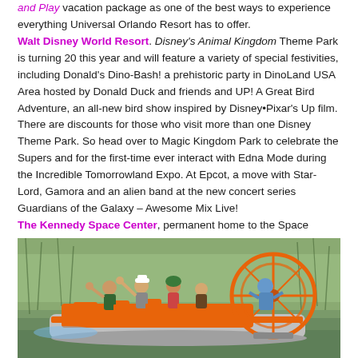and Play vacation package as one of the best ways to experience everything Universal Orlando Resort has to offer. Walt Disney World Resort. Disney's Animal Kingdom Theme Park is turning 20 this year and will feature a variety of special festivities, including Donald's Dino-Bash! a prehistoric party in DinoLand USA Area hosted by Donald Duck and friends and UP! A Great Bird Adventure, an all-new bird show inspired by Disney•Pixar's Up film. There are discounts for those who visit more than one Disney Theme Park. So head over to Magic Kingdom Park to celebrate the Supers and for the first-time ever interact with Edna Mode during the Incredible Tomorrowland Expo. At Epcot, a move with Star-Lord, Gamora and an alien band at the new concert series Guardians of the Galaxy – Awesome Mix Live! The Kennedy Space Center, permanent home to the Space Shuttle Atlantis and other space-age attractions, is less than an hour away. Visitors can enjoy lunch and a guided tour of either the Apollo or of the Saturn V Center, where they'll view the launch pads, Vehicle Assembly Building and the most powerful rocket ever built.
[Figure (photo): People waving on an orange airboat in a wetland/marsh setting with tall grass in the background.]